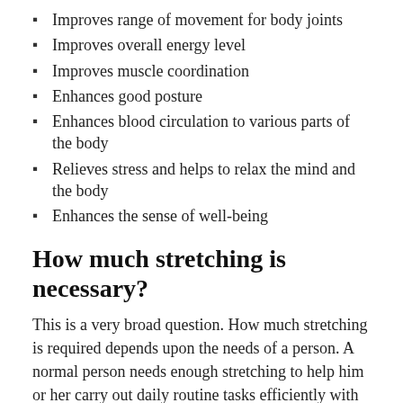Improves range of movement for body joints
Improves overall energy level
Improves muscle coordination
Enhances good posture
Enhances blood circulation to various parts of the body
Relieves stress and helps to relax the mind and the body
Enhances the sense of well-being
How much stretching is necessary?
This is a very broad question. How much stretching is required depends upon the needs of a person. A normal person needs enough stretching to help him or her carry out daily routine tasks efficiently with